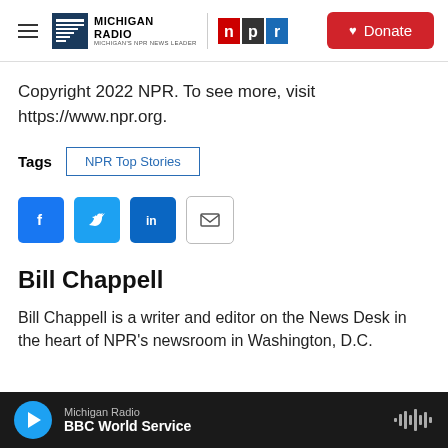Michigan Radio / NPR — Donate
Copyright 2022 NPR. To see more, visit https://www.npr.org.
Tags  NPR Top Stories
[Figure (infographic): Social share buttons: Facebook, Twitter, LinkedIn, Email]
Bill Chappell
Bill Chappell is a writer and editor on the News Desk in the heart of NPR's newsroom in Washington, D.C.
Michigan Radio — BBC World Service (audio player)